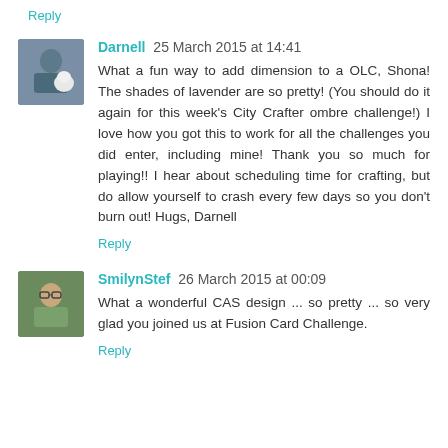Reply
Darnell 25 March 2015 at 14:41
What a fun way to add dimension to a OLC, Shona! The shades of lavender are so pretty! (You should do it again for this week's City Crafter ombre challenge!) I love how you got this to work for all the challenges you did enter, including mine! Thank you so much for playing!! I hear about scheduling time for crafting, but do allow yourself to crash every few days so you don't burn out! Hugs, Darnell
Reply
SmilynStef 26 March 2015 at 00:09
What a wonderful CAS design ... so pretty ... so very glad you joined us at Fusion Card Challenge.
Reply